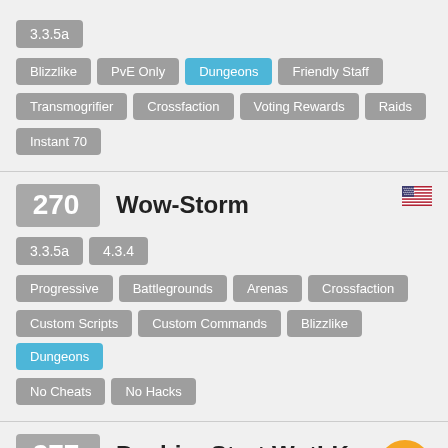3.3.5a
Blizzlike, PvE Only, Dungeons (active), Friendly Staff, Transmogrifier, Crossfaction, Voting Rewards, Raids, Instant 70
270  Wow-Storm
3.3.5a, 4.3.4
Progressive, Battlegrounds, Arenas, Crossfaction, Custom Scripts, Custom Commands, Blizzlike, Dungeons (active), No Cheats, No Hacks
277  PushingStart WotLK